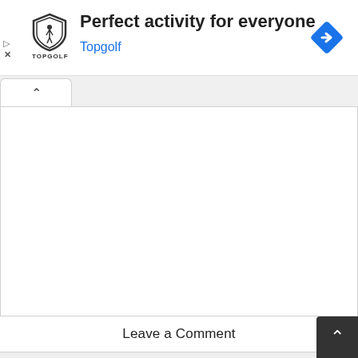[Figure (screenshot): Advertisement banner for Topgolf. Shows Topgolf shield logo, text 'Perfect activity for everyone', blue 'Topgolf' link, blue diamond navigation icon, play and close icons on left side.]
[Figure (screenshot): Web page UI showing a collapse/expand tab with upward chevron arrow, a large white content card area, a 'Leave a Comment' section header, and a dark back-to-top button with upward chevron in bottom right corner.]